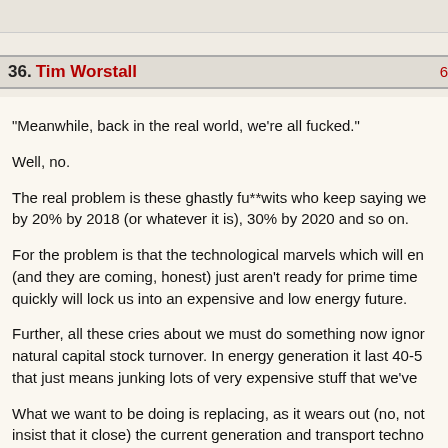36. Tim Worstall  61
“Meanwhile, back in the real world, we’re all fucked.”
Well, no.
The real problem is these ghastly fu**wits who keep saying we by 20% by 2018 (or whatever it is), 30% by 2020 and so on.
For the problem is that the technological marvels which will en (and they are coming, honest) just aren’t ready for prime time quickly will lock us into an expensive and low energy future.
Further, all these cries about we must do something now ignor natural capital stock turnover. In energy generation it last 40-5 that just means junking lots of very expensive stuff that we’ve
What we want to be doing is replacing, as it wears out (no, not insist that it close) the current generation and transport techno carbon ones. NOT throw everything away right now and build